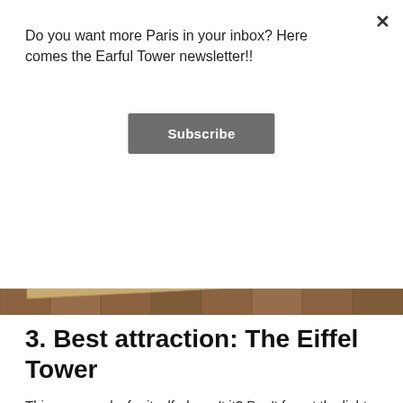Do you want more Paris in your inbox? Here comes the Earful Tower newsletter!!
Subscribe
[Figure (photo): Close-up photo of wooden parquet floor with a framed artwork or object resting diagonally on it, showing wooden and metal frame details]
3. Best attraction: The Eiffel Tower
This one speaks for itself, doesn't it? Don't forget the light show in the evenings: on the hour, every hour, for five glorious minutes. And as Marie mentioned, rue Saint Dominique provides some pretty stunning views of it